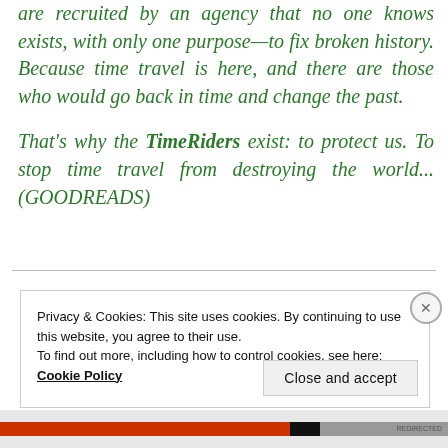are recruited by an agency that no one knows exists, with only one purpose—to fix broken history. Because time travel is here, and there are those who would go back in time and change the past.

That's why the TimeRiders exist: to protect us. To stop time travel from destroying the world... (GOODREADS)
Privacy & Cookies: This site uses cookies. By continuing to use this website, you agree to their use.
To find out more, including how to control cookies, see here: Cookie Policy
Close and accept